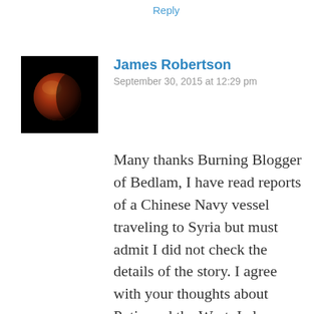Reply
James Robertson
September 30, 2015 at 12:29 pm
[Figure (photo): Square avatar image of a blood moon / lunar eclipse against a black background]
Many thanks Burning Blogger of Bedlam, I have read reports of a Chinese Navy vessel traveling to Syria but must admit I did not check the details of the story. I agree with your thoughts about Putin and the West, I always tried to avoid being a Putin fanboy but it has become quite difficult recently. \I feel awful about that great link you put over there and I will try to match it with your icon over here, I think there is a nice